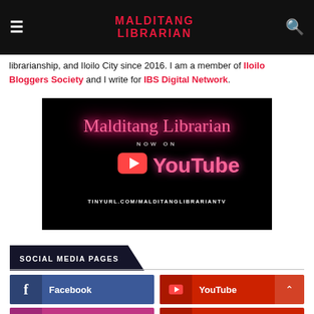MALDITANG LIBRARIAN
librarianship, and Iloilo City since 2016. I am a member of Iloilo Bloggers Society and I write for IBS Digital Network.
[Figure (photo): Malditang Librarian YouTube channel promotional banner on black background with pink neon-style text reading 'Malditang Librarian NOW ON YouTube' and URL TINYURL.COM/MALDITANGLIBRARIANTV]
SOCIAL MEDIA PAGES
Facebook
YouTube